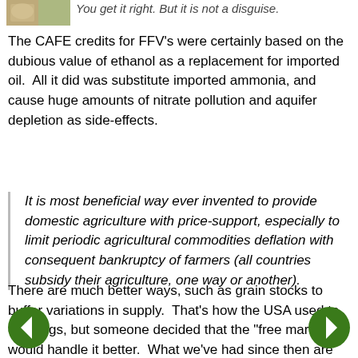[Figure (photo): Small partial image of an animal or decorative element in top-left corner]
You get it right. But it is not a disguise.
The CAFE credits for FFV's were certainly based on the dubious value of ethanol as a replacement for imported oil.  All it did was substitute imported ammonia, and cause huge amounts of nitrate pollution and aquifer depletion as side-effects.
It is most beneficial way ever invented to provide domestic agriculture with price-support, especially to limit periodic agricultural commodities deflation with consequent bankruptcy of farmers (all countries subsidy their agriculture, one way or another).
There are much better ways, such as grain stocks to buffer variations in supply.  That's how the USA used to do things, but someone decided that the "free market" would handle it better.  What we've had since then are heaps of ill-considered government interventions to make up for the failure of that one "free market" change.
[Figure (illustration): Green circle navigation arrow pointing left]
[Figure (illustration): Green circle navigation arrow pointing right]